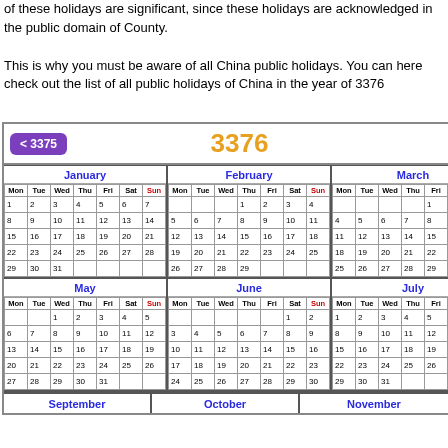of these holidays are significant, since these holidays are acknowledged in the public domain of County.
This is why you must be aware of all China public holidays. You can here check out the list of all public holidays of China in the year of 3376
[Figure (other): Year 3376 calendar showing months January through November with days of the week, Sundays highlighted in red, navigation button < 3375 in purple, year 3376 in orange]
< 3375   3376